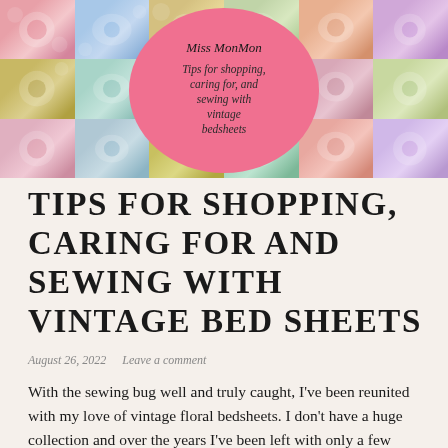[Figure (illustration): Blog header banner made of a grid of colorful vintage floral fabric tiles with a pink oval overlay containing the blog name 'Miss MonMon' and tagline 'Tips for shopping, caring for, and sewing with vintage bedsheets']
TIPS FOR SHOPPING, CARING FOR AND SEWING WITH VINTAGE BED SHEETS
August 26, 2022   Leave a comment
With the sewing bug well and truly caught, I've been reunited with my love of vintage floral bedsheets. I don't have a huge collection and over the years I've been left with only a few pieces still in my collection